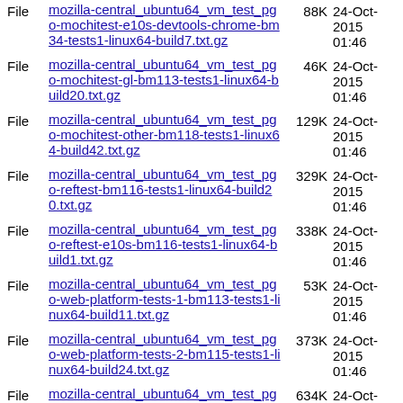File mozilla-central_ubuntu64_vm_test_pgo-mochitest-e10s-devtools-chrome-bm34-tests1-linux64-build7.txt.gz 88K 24-Oct-2015 01:46
File mozilla-central_ubuntu64_vm_test_pgo-mochitest-gl-bm113-tests1-linux64-build20.txt.gz 46K 24-Oct-2015 01:46
File mozilla-central_ubuntu64_vm_test_pgo-mochitest-other-bm118-tests1-linux64-build42.txt.gz 129K 24-Oct-2015 01:46
File mozilla-central_ubuntu64_vm_test_pgo-reftest-bm116-tests1-linux64-build20.txt.gz 329K 24-Oct-2015 01:46
File mozilla-central_ubuntu64_vm_test_pgo-reftest-e10s-bm116-tests1-linux64-build1.txt.gz 338K 24-Oct-2015 01:46
File mozilla-central_ubuntu64_vm_test_pgo-web-platform-tests-1-bm113-tests1-linux64-build11.txt.gz 53K 24-Oct-2015 01:46
File mozilla-central_ubuntu64_vm_test_pgo-web-platform-tests-2-bm115-tests1-linux64-build24.txt.gz 373K 24-Oct-2015 01:46
File mozilla-central_ubuntu64_vm_test_pgo-web-platform-tests-3-bm116-tests1-linux64-build12.txt.gz 634K 24-Oct-2015 01:46
File mozilla-central_ubuntu64_vm_test_pgo- 24-Oct-